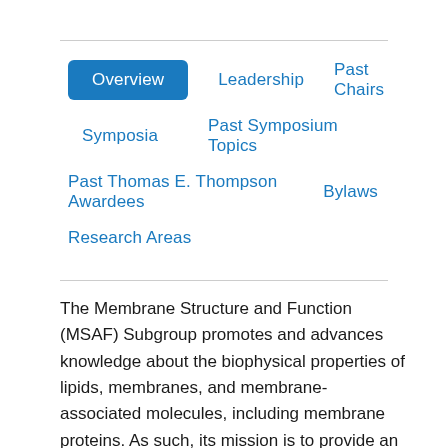Overview
Leadership
Past Chairs
Symposia
Past Symposium Topics
Past Thomas E. Thompson Awardees
Bylaws
Research Areas
The Membrane Structure and Function (MSAF) Subgroup promotes and advances knowledge about the biophysical properties of lipids, membranes, and membrane-associated molecules, including membrane proteins. As such, its mission is to provide an intellectual home base for its members as the Biophysical Society continues to rapidly grow and expand its realms of interests. To do so, the MSAF sponsors a popular Saturday Symposium